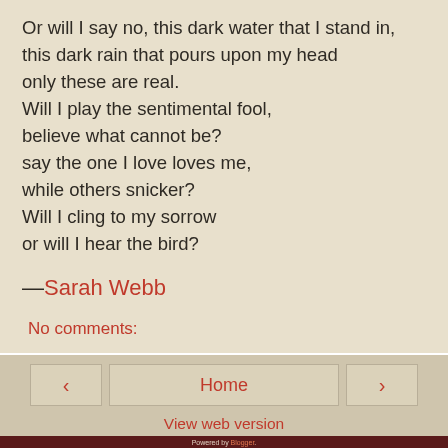Or will I say no, this dark water that I stand in,
this dark rain that pours upon my head
only these are real.
Will I play the sentimental fool,
believe what cannot be?
say the one I love loves me,
while others snicker?
Will I cling to my sorrow
or will I hear the bird?
—Sarah Webb
No comments:
‹
Home
›
View web version
Powered by Blogger.